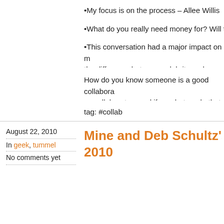•My focus is on the process – Allee Willis
•What do you really need money for? Will th
•This conversation had a major impact on m the difference between celebrity and software c
How do you know someone is a good collabora as collaborators and if so what made that think
tag: #collab
August 22, 2010
In geek, tummel
No comments yet
Mine and Deb Schultz's Tumm 2010